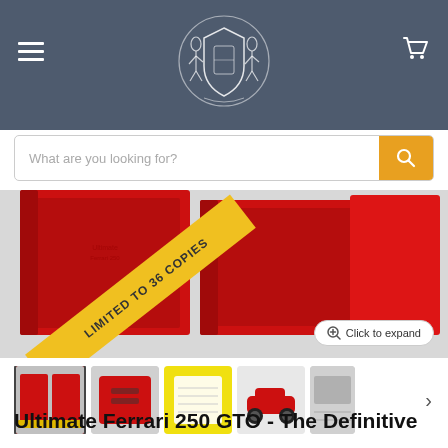Porter Press International — logo and navigation
What are you looking for?
[Figure (photo): Product photo of Ultimate Ferrari 250 GTO book set in red slipcase, with diagonal yellow banner reading LIMITED TO 36 COPIES. A Click to expand button is visible.]
[Figure (photo): Thumbnail 1: Red slipcase with two books]
[Figure (photo): Thumbnail 2: Red box with clasp]
[Figure (photo): Thumbnail 3: Open book on yellow surface]
[Figure (photo): Thumbnail 4: Ferrari 250 GTO red car photo]
[Figure (photo): Thumbnail 5: Partial image of cars in row]
Ultimate Ferrari 250 GTO - The Definitive